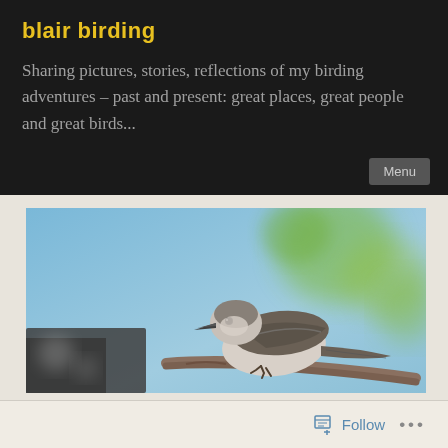blair birding
Sharing pictures, stories, reflections of my birding adventures – past and present: great places, great people and great birds...
[Figure (photo): A small gray-brown bird perched on a branch, photographed against a blurred blue and green background. The bird appears to be a mockingbird or similar species, viewed from the side.]
Follow ...